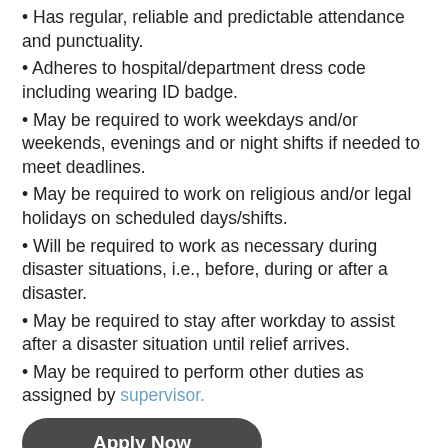Has regular, reliable and predictable attendance and punctuality.
Adheres to hospital/department dress code including wearing ID badge.
May be required to work weekdays and/or weekends, evenings and or night shifts if needed to meet deadlines.
May be required to work on religious and/or legal holidays on scheduled days/shifts.
Will be required to work as necessary during disaster situations, i.e., before, during or after a disaster.
May be required to stay after workday to assist after a disaster situation until relief arrives.
May be required to perform other duties as assigned by supervisor.
Apply Now